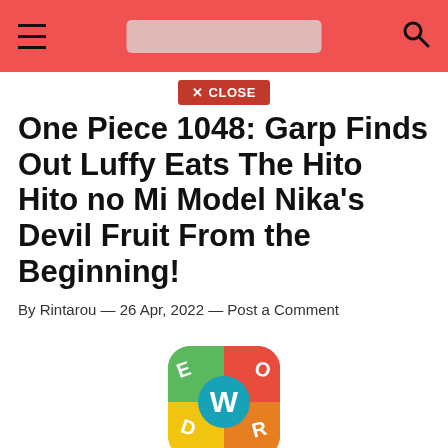Navigation bar with hamburger menu, search bar, and search icon
✕ CLOSE
One Piece 1048: Garp Finds Out Luffy Eats The Hito Hito no Mi Model Nika's Devil Fruit From the Beginning!
By Rintarou — 26 Apr, 2022 — Post a Comment
[Figure (logo): Wordle! app icon — colorful letter tiles with a W in the center]
Wordle!
4.5 free